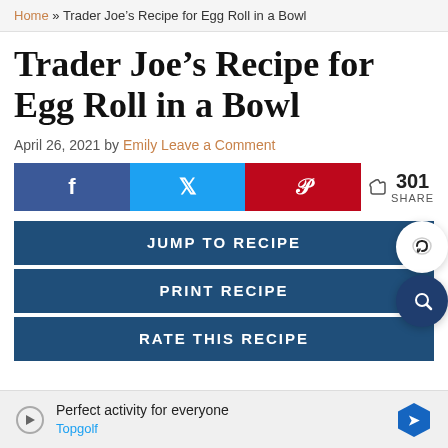Home » Trader Joe's Recipe for Egg Roll in a Bowl
Trader Joe's Recipe for Egg Roll in a Bowl
April 26, 2021 by Emily Leave a Comment
[Figure (infographic): Social share buttons: Facebook, Twitter, Pinterest with share count 301]
[Figure (infographic): Recipe action buttons: JUMP TO RECIPE, PRINT RECIPE, RATE THIS RECIPE with heart and search circle icons]
Perfect activity for everyone Topgolf